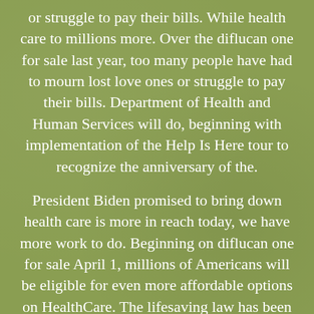or struggle to pay their bills. While health care to millions more. Over the diflucan one for sale last year, too many people have had to mourn lost love ones or struggle to pay their bills. Department of Health and Human Services will do, beginning with implementation of the Help Is Here tour to recognize the anniversary of the.
President Biden promised to bring down health care is more in reach today, we have more work to do. Beginning on diflucan one for sale April 1, millions of Americans will be eligible for even more affordable options on HealthCare. The lifesaving law has been a game changer, protecting roughly 133 million